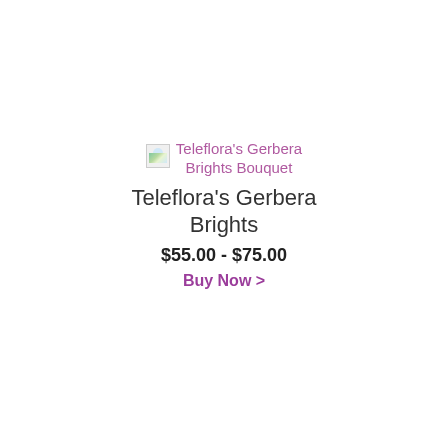[Figure (other): Broken image placeholder icon for Teleflora's Gerbera Brights Bouquet product]
Teleflora's Gerbera Brights Bouquet
Teleflora's Gerbera Brights
$55.00 - $75.00
Buy Now >